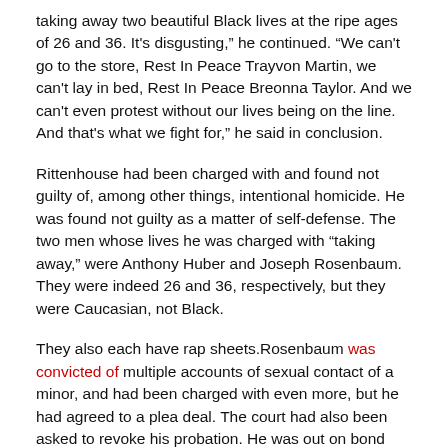taking away two beautiful Black lives at the ripe ages of 26 and 36. It's disgusting,” he continued. “We can't go to the store, Rest In Peace Trayvon Martin, we can't lay in bed, Rest In Peace Breonna Taylor. And we can't even protest without our lives being on the line. And that's what we fight for,” he said in conclusion.
Rittenhouse had been charged with and found not guilty of, among other things, intentional homicide. He was found not guilty as a matter of self-defense. The two men whose lives he was charged with “taking away,” were Anthony Huber and Joseph Rosenbaum. They were indeed 26 and 36, respectively, but they were Caucasian, not Black.
They also each have rap sheets.Rosenbaum was convicted of multiple accounts of sexual contact of a minor, and had been charged with even more, but he had agreed to a plea deal. The court had also been asked to revoke his probation. He was out on bond over a  domestic abuse battery accusation.
Huber was convicted in a strangulation case and had recently been accused of domestic abuse.